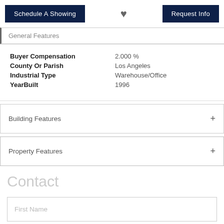Schedule A Showing | ♥ | Request Info
General Features
| Field | Value |
| --- | --- |
| Buyer Compensation | 2.000 % |
| County Or Parish | Los Angeles |
| Industrial Type | Warehouse/Office |
| YearBuilt | 1996 |
Building Features
Property Features
Contact
First Name